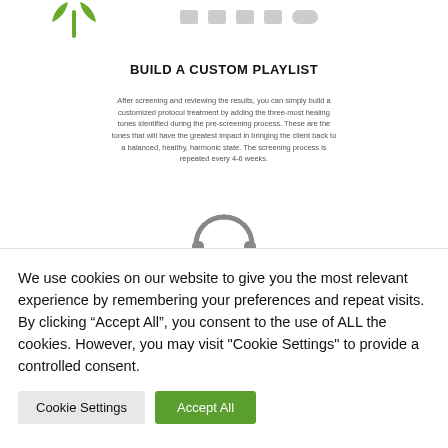[Figure (logo): Green logo mark (stylized plant/leaf icon) and navigation icons in top area]
BUILD A CUSTOM PLAYLIST
After screening and reviewing the results, you can simply build a customized protocol treatment by adding the three-most healing tones identified during the pre-screening process. These are the tones that will have the greatest impact in bringing the client back to a balanced, healthy, harmonic state. The screening process is repeated every 4-6 weeks.
[Figure (illustration): Partial headphones icon graphic]
We use cookies on our website to give you the most relevant experience by remembering your preferences and repeat visits. By clicking “Accept All”, you consent to the use of ALL the cookies. However, you may visit "Cookie Settings" to provide a controlled consent.
[Figure (screenshot): Cookie consent dialog with Cookie Settings and Accept All buttons]